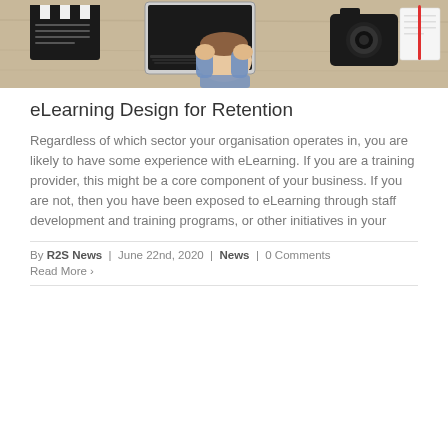[Figure (photo): Person with head in hands at a desk with laptop, clapperboard, camera and notepad]
eLearning Design for Retention
Regardless of which sector your organisation operates in, you are likely to have some experience with eLearning. If you are a training provider, this might be a core component of your business. If you are not, then you have been exposed to eLearning through staff development and training programs, or other initiatives in your
By R2S News | June 22nd, 2020 | News | 0 Comments
Read More >